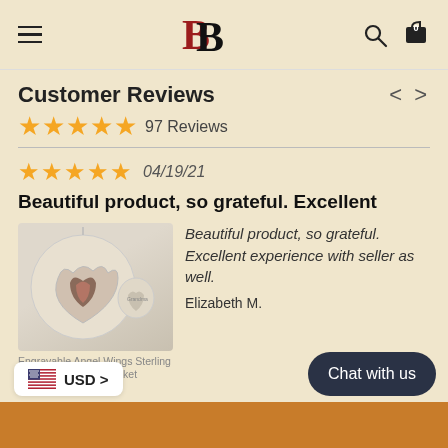BB logo, hamburger menu, search icon, cart icon
Customer Reviews
★★★★★ 97 Reviews
★★★★★ 04/19/21
Beautiful product, so grateful. Excellent
[Figure (photo): Photo of a heart-shaped angel wings sterling silver locket necklace with a photo inside, and a smaller locket charm beside it]
Engravable Angel Wings Sterling Silver Heart Photo Locket Necklace
Beautiful product, so grateful. Excellent experience with seller as well.
Elizabeth M.
USD > | Chat with us